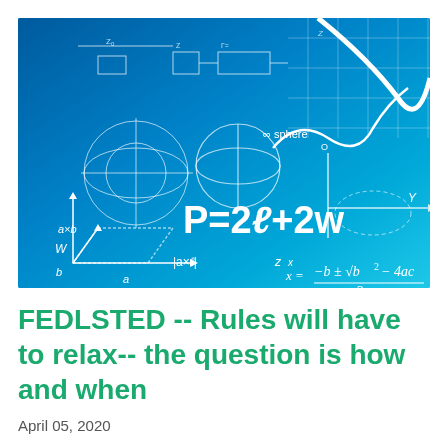[Figure (illustration): A blue gradient background image featuring various mathematical formulas, diagrams, and equations written in white, including P=2l+2w, the quadratic formula x=(-b±√(b²-4ac))/2a, geometric shapes, vectors, and function graphs.]
FEDLSTED -- Rules will have to relax-- the question is how and when
April 05, 2020